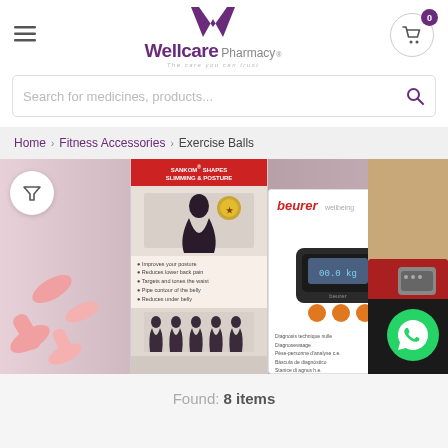[Figure (logo): Wellcare Pharmacy logo with purple W chevron icon and text 'Wellcare Pharmacy' with tagline 'The care you can trust']
Search for medicines, products...
Home > Fitness Accessories > Exercise Balls
[Figure (photo): Banner image showing fitness accessories: pink dumbbells, Sankom Shapes Slimming & Posture product box, Beurer wellbeing scale in box, and a person wearing a back support belt with TENS device. WhatsApp icon visible in bottom right.]
Found: 8 items